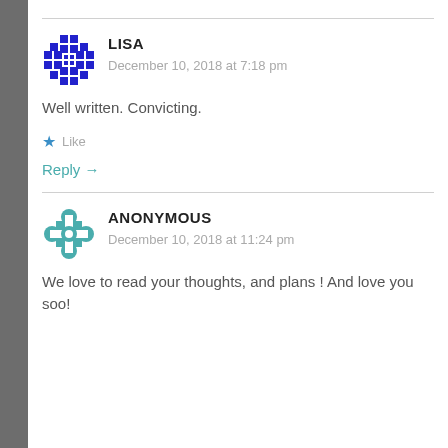LISA
December 10, 2018 at 7:18 pm
Well written. Convicting.
Like
Reply →
ANONYMOUS
December 10, 2018 at 11:24 pm
We love to read your thoughts, and plans ! And love you soo!